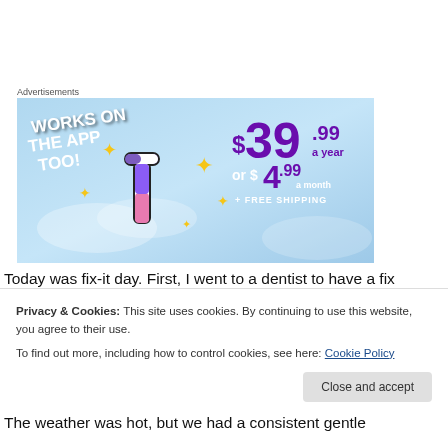Advertisements
[Figure (illustration): Tumblr ad banner on a light blue sky background. Left side shows 'WORKS ON THE APP TOO!' in bold white angled text with a Tumblr 't' logo (white/purple/pink) surrounded by yellow sparkle stars. Right side shows pricing: $39.99 a year in large purple text, or $4.99 a month + FREE SHIPPING in white text.]
Today was fix-it day.  First, I went to a dentist to have a fix
Privacy & Cookies: This site uses cookies. By continuing to use this website, you agree to their use.
To find out more, including how to control cookies, see here: Cookie Policy
The weather was hot, but we had a consistent gentle